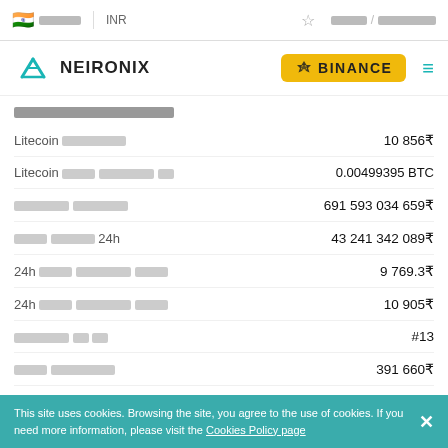[redacted] INR [star] [redacted] / [redacted]
[Figure (logo): Neironix logo with teal N icon and NEIRONIX wordmark, Binance yellow button, hamburger menu]
[redacted]
| Label | Value |
| --- | --- |
| Litecoin [redacted] | 10 856₹ |
| Litecoin [redacted] [redacted] [redacted] | 0.00499395 BTC |
| [redacted] [redacted] | 691 593 034 659₹ |
| [redacted] [redacted] 24h | 43 241 342 089₹ |
| 24h [redacted] [redacted] [redacted] | 9 769.3₹ |
| 24h [redacted] [redacted] [redacted] | 10 905₹ |
| [redacted] [redacted] [redacted] | #13 |
| [redacted] [redacted] | 391 660₹ |
| [redacted] [redacted] [redacted] | 10:00 05.02.2021 |
This site uses cookies. Browsing the site, you agree to the use of cookies. If you need more information, please visit the Cookies Policy page